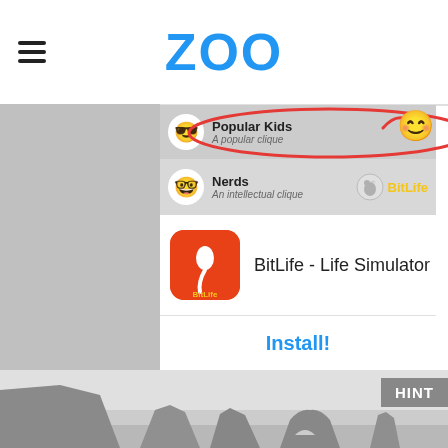ZOO
[Figure (screenshot): Mobile app advertisement for BitLife - Life Simulator game, showing game cliques (Popular Kids, Nerds), app icon, and Install button]
[Figure (photo): Grayscale landscape photo of coastal rock formations and sea arch at bottom of page with HINT badge overlay]